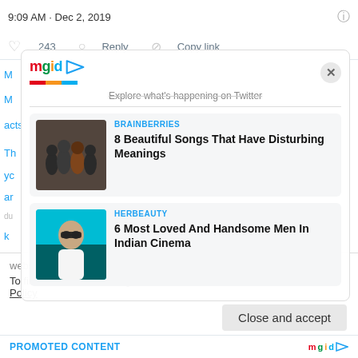9:09 AM · Dec 2, 2019
243  Reply  Copy link
[Figure (screenshot): MGID logo with play button icon and colorful underline]
Explore what's happening on Twitter
BRAINBERRIES
8 Beautiful Songs That Have Disturbing Meanings
[Figure (photo): Group photo of several people - band members]
HERBEAUTY
6 Most Loved And Handsome Men In Indian Cinema
[Figure (photo): Man in white shirt with sunglasses]
website, you agree to their use.
To find out more, including how to control cookies, see here: Cookie Policy
Close and accept
PROMOTED CONTENT